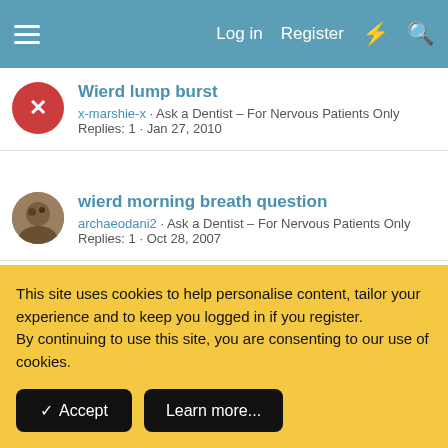Log in  Register
Wierd lump burst — x-marshie-x · Ask a Dentist - For Nervous Patients Only · Replies: 1 · Jan 27, 2010
wierd morning breath question — archaeodani2 · Ask a Dentist - For Nervous Patients Only · Replies: 1 · Oct 28, 2007
Slight pain on filled tooth and strange sensations on roof of mouth 2 weeks after filling adjustment — MilesAlma · Ask a Dentist - For Nervous Patients Only
This site uses cookies to help personalise content, tailor your experience and to keep you logged in if you register. By continuing to use this site, you are consenting to our use of cookies.